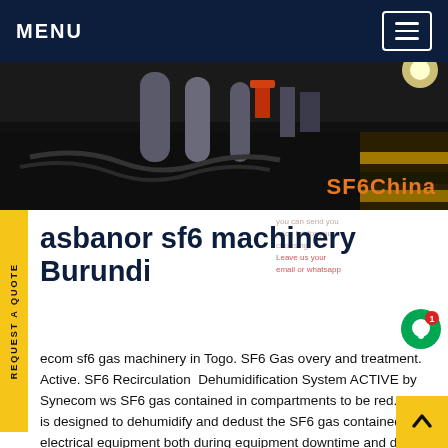MENU
[Figure (photo): Dark industrial/warehouse scene with yellow and black machinery, hoses, and equipment. SF6China watermark in orange text bottom-right.]
asbanor sf6 machinery Burundi
you can send you
price list for you
choosing.
Leave us your
email or whatsapp
ecom sf6 gas machinery in Togo. SF6 Gas overy and treatment. Active. SF6 Recirculation Dehumidification System ACTIVE by Synecom ws SF6 gas contained in compartments to be red. Active is designed to dehumidify and dedust the SF6 gas contained in electrical equipment both during equipment downtime and during normal operation.Get price